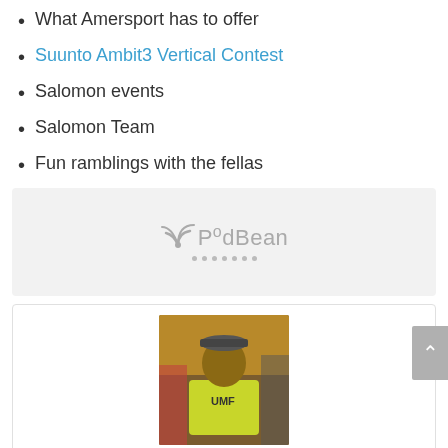What Amersport has to offer
Suunto Ambit3 Vertical Contest
Salomon events
Salomon Team
Fun ramblings with the fellas
[Figure (other): PodBean podcast player embed placeholder showing PodBean logo and loading dots on a light grey background]
[Figure (photo): Photo of Joel Hatch wearing a yellow athletic shirt and backpack, standing indoors with other people visible behind him]
Joel Hatch